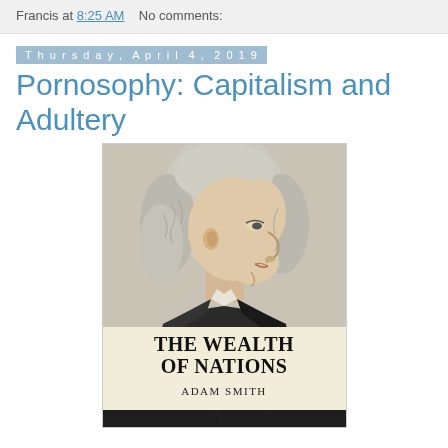Francis at 8:25 AM   No comments:
Thursday, April 4, 2019
Pornosophy: Capitalism and Adultery
[Figure (photo): Book cover of 'The Wealth of Nations' by Adam Smith, featuring a side-profile engraving portrait of Adam Smith in 18th century dress with powdered wig, on a cream/beige background. The title 'THE WEALTH OF NATIONS' appears in large bold serif text, with 'ADAM SMITH' in smaller spaced serif text below.]